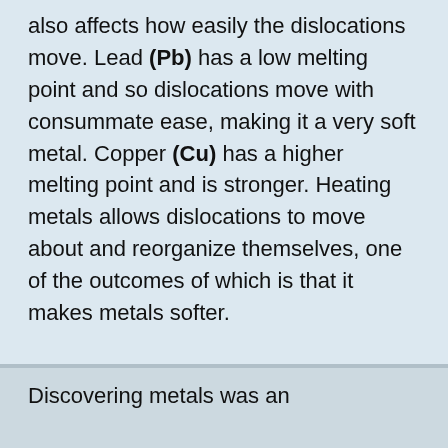also affects how easily the dislocations move. Lead (Pb) has a low melting point and so dislocations move with consummate ease, making it a very soft metal. Copper (Cu) has a higher melting point and is stronger. Heating metals allows dislocations to move about and reorganize themselves, one of the outcomes of which is that it makes metals softer.
Discovering metals was an